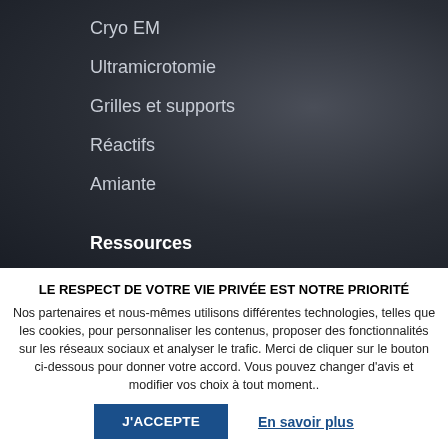Cryo EM
Ultramicrotomie
Grilles et supports
Réactifs
Amiante
Ressources
LE RESPECT DE VOTRE VIE PRIVÉE EST NOTRE PRIORITÉ
Nos partenaires et nous-mêmes utilisons différentes technologies, telles que les cookies, pour personnaliser les contenus, proposer des fonctionnalités sur les réseaux sociaux et analyser le trafic. Merci de cliquer sur le bouton ci-dessous pour donner votre accord. Vous pouvez changer d'avis et modifier vos choix à tout moment..
J'ACCEPTE
En savoir plus